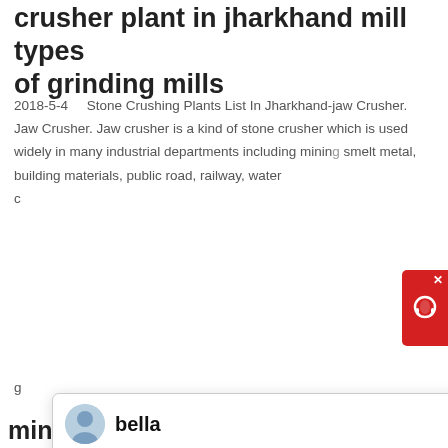crusher plant in jharkhand mill types of grinding mills
2018-5-4    Stone Crushing Plants List In Jharkhand-jaw Crusher. Jaw Crusher. Jaw crusher is a kind of stone crusher which is used widely in many industrial departments including mining smelt metal, building materials, public road, railway, water c
[Figure (screenshot): Chat popup overlay from Liming Heavy Industry with avatar 'bella' and message: Welcome to Liming Heavy Industry! Now our on-line service is chatting with you! please choose: 1.English]
[Figure (photo): Outdoor photo of a stone crushing and screening plant with blue conveyor belts and machinery, dated 10/20/2013]
mini stone crusher and screening